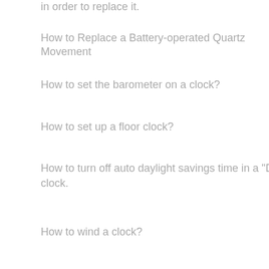in order to replace it.
How to Replace a Battery-operated Quartz Movement
How to set the barometer on a clock?
How to set up a floor clock?
How to turn off auto daylight savings time in a "DST" clock.
How to wind a clock?
I cannot find an answer to my question. What do I do now?
I just moved the hands of my battery-operated clock forward for the time change and it doesn't work.
Location of key, crank, and weights in the floor clock